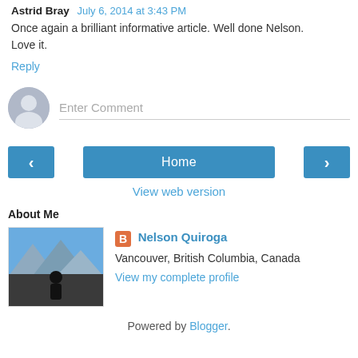Astrid Bray  July 6, 2014 at 3:43 PM
Once again a brilliant informative article. Well done Nelson. Love it.
Reply
Enter Comment
‹  Home  ›
View web version
About Me
Nelson Quiroga
Vancouver, British Columbia, Canada
View my complete profile
Powered by Blogger.